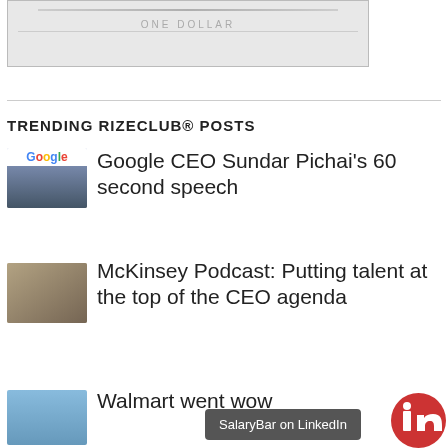[Figure (photo): Partial image of a dollar bill in a gray-bordered frame, cropped at top]
TRENDING RIZECLUB® POSTS
[Figure (photo): Thumbnail: Google logo with man in suit below]
Google CEO Sundar Pichai's 60 second speech
[Figure (photo): Thumbnail: McKinsey imagery with gears/figures]
McKinsey Podcast: Putting talent at the top of the CEO agenda
[Figure (photo): Thumbnail: Walmart store exterior with blue sky]
Walmart went wow
SalaryBar on LinkedIn